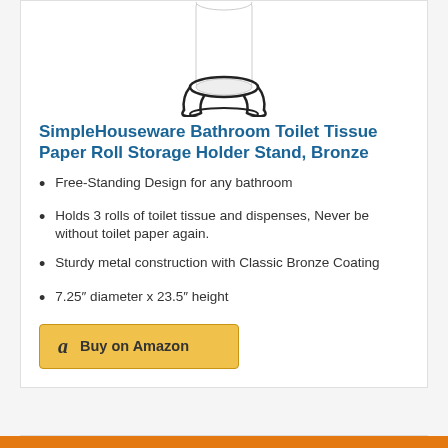[Figure (illustration): Product image of a metal toilet paper roll holder stand with wire frame design, partially visible at top of card]
SimpleHouseware Bathroom Toilet Tissue Paper Roll Storage Holder Stand, Bronze
Free-Standing Design for any bathroom
Holds 3 rolls of toilet tissue and dispenses, Never be without toilet paper again.
Sturdy metal construction with Classic Bronze Coating
7.25″ diameter x 23.5″ height
[Figure (logo): Buy on Amazon button with Amazon logo]